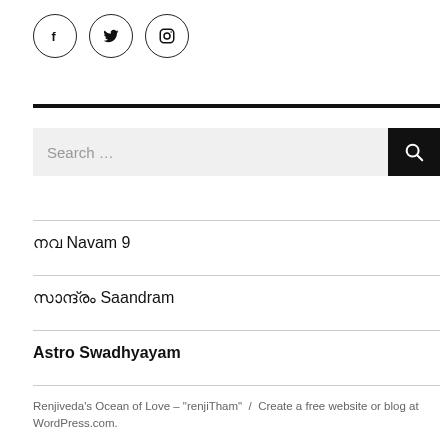[Figure (illustration): Three social media icon circles: Facebook (f), Twitter (bird), Instagram (camera)]
Search …
നവ Navam 9
സാന്ദ്രം Saandram
Astro Swadhyayam
Renjiveda's Ocean of Love – "renjiTham" / Create a free website or blog at WordPress.com.